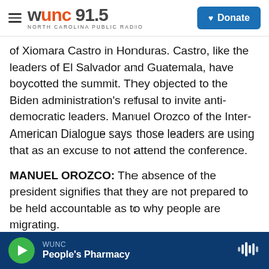WUNC 91.5 NORTH CAROLINA PUBLIC RADIO | Donate
of Xiomara Castro in Honduras. Castro, like the leaders of El Salvador and Guatemala, have boycotted the summit. They objected to the Biden administration's refusal to invite anti-democratic leaders. Manuel Orozco of the Inter-American Dialogue says those leaders are using that as an excuse to not attend the conference.
MANUEL OROZCO: The absence of the president signifies that they are not prepared to be held accountable as to why people are migrating.
KAHN: He says the Biden administration needs to
WUNC | People's Pharmacy